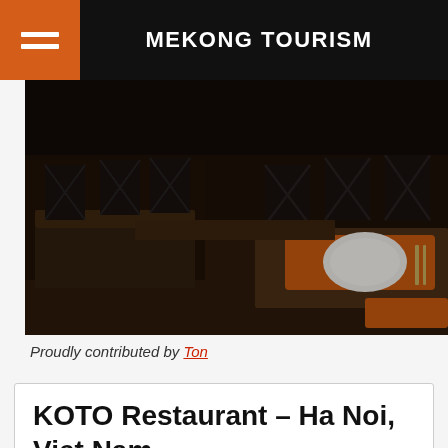MEKONG TOURISM
[Figure (photo): Interior of KOTO Restaurant showing wooden tables with orange placemats and a white plate, metal cross-back chairs in a dim restaurant setting]
Proudly contributed by Ton
KOTO Restaurant – Ha Noi, Viet Nam
Year of Establishment